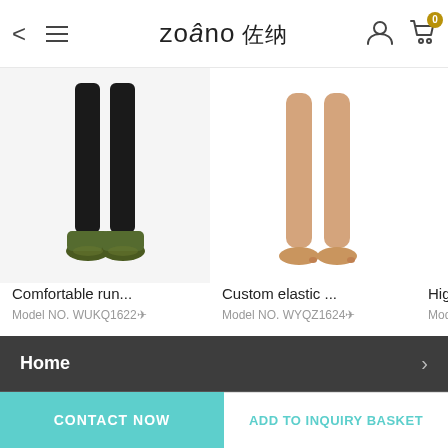zoâno 佐纳 — navigation header with back arrow, menu icon, user icon, cart icon (badge: 0)
[Figure (photo): Person's lower legs and feet wearing black running leggings and green/black sneakers]
Comfortable run...
Model NO. WUKQ1622✈
[Figure (photo): Bare legs and feet of a person standing, showing skin-toned lower legs]
Custom elastic ...
Model NO. WYQZ1624✈
High
Mode
Home
Products
CONTACT NOW | ADD TO INQUIRY BASKET